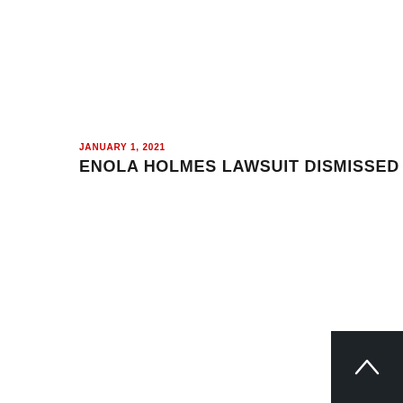JANUARY 1, 2021
ENOLA HOLMES LAWSUIT DISMISSED
[Figure (other): Dark square button with upward-pointing chevron arrow (back to top button)]